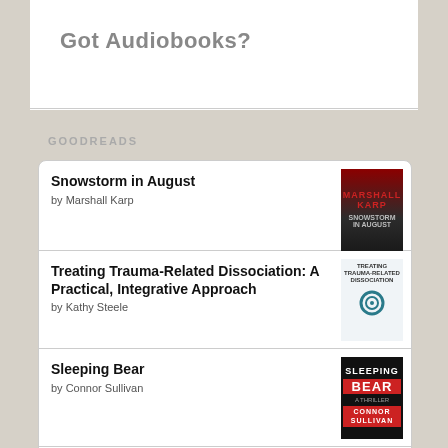Got Audiobooks?
GOODREADS
Snowstorm in August by Marshall Karp
Treating Trauma-Related Dissociation: A Practical, Integrative Approach by Kathy Steele
Sleeping Bear by Connor Sullivan
Antitrust: Taking on Monopoly Power from the Gilded Age to the Digital Age by Amy Klobuchar